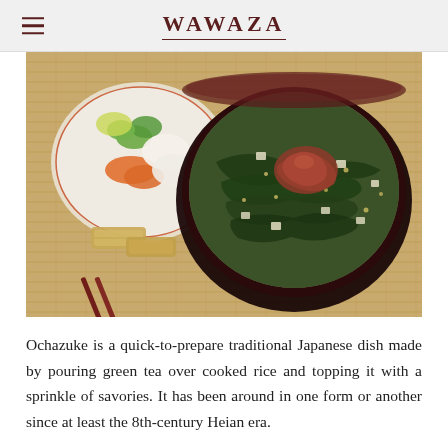WAWAZA
[Figure (photo): A bowl of ochazuke (Japanese green tea rice soup) with seaweed and toppings in a dark lacquer bowl, with a side dish of pickled vegetables, chopsticks on a chopstick rest, all arranged on a bamboo mat.]
Ochazuke is a quick-to-prepare traditional Japanese dish made by pouring green tea over cooked rice and topping it with a sprinkle of savories. It has been around in one form or another since at least the 8th-century Heian era.